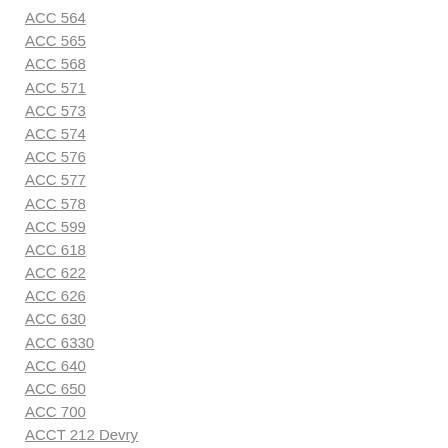ACC 564
ACC 565
ACC 568
ACC 571
ACC 573
ACC 574
ACC 576
ACC 577
ACC 578
ACC 599
ACC 618
ACC 622
ACC 626
ACC 630
ACC 6330
ACC 640
ACC 650
ACC 700
ACCT 212 Devry